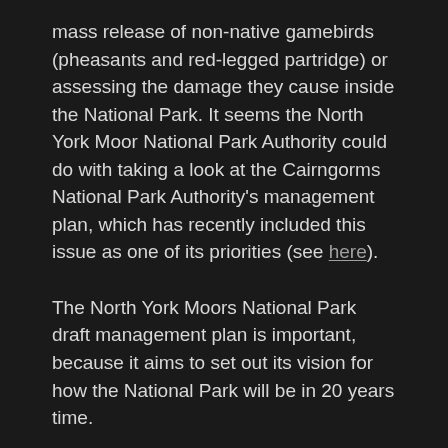mass release of non-native gamebirds (pheasants and red-legged partridge) or assessing the damage they cause inside the National Park. It seems the North York Moor National Park Authority could do with taking a look at the Cairngorms National Park Authority's management plan, which has recently included this issue as one of its priorities (see here).
The North York Moors National Park draft management plan is important, because it aims to set out its vision for how the National Park will be in 20 years time.
According to the NYMNPA website, 'the draft